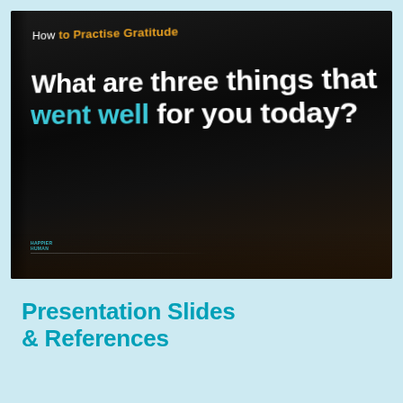[Figure (photo): A dark presentation slide on a screen showing 'How to Practise Gratitude' as the title in orange/white, with the question 'What are three things that went well for you today?' in white and cyan text. A small logo and a thin line appear at the bottom of the slide.]
Presentation Slides & References